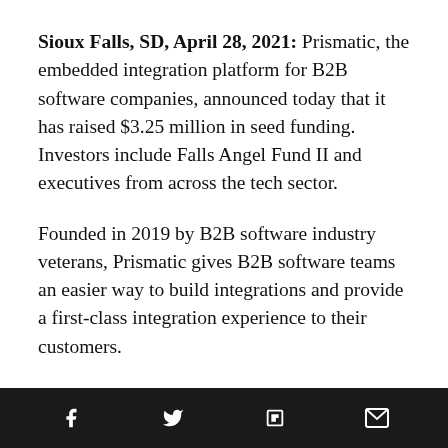Sioux Falls, SD, April 28, 2021: Prismatic, the embedded integration platform for B2B software companies, announced today that it has raised $3.25 million in seed funding. Investors include Falls Angel Fund II and executives from across the tech sector.
Founded in 2019 by B2B software industry veterans, Prismatic gives B2B software teams an easier way to build integrations and provide a first-class integration experience to their customers.
Today's funding announcement comes on the heels of the Prismatic platform's general
[Figure (other): Social sharing bar with icons for Facebook, Twitter, Flipboard, and Email]